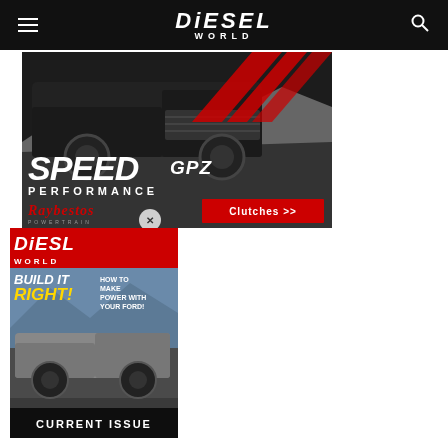Diesel World
[Figure (screenshot): Advertisement banner for Raybestos Powertrain Speed GPZ Performance Clutches, featuring a black pickup truck with red diagonal stripes, large italic SPEED text, GPZ logo, PERFORMANCE text, Raybestos script logo, and a red Clutches >> button. A close (X) button is visible at the bottom.]
[Figure (screenshot): Diesel World magazine cover showing BUILD IT RIGHT! and HOW TO MAKE POWER WITH YOUR FORD! headlines, featuring a lifted silver Ford truck. A dark semi-transparent CURRENT ISSUE label appears at the bottom.]